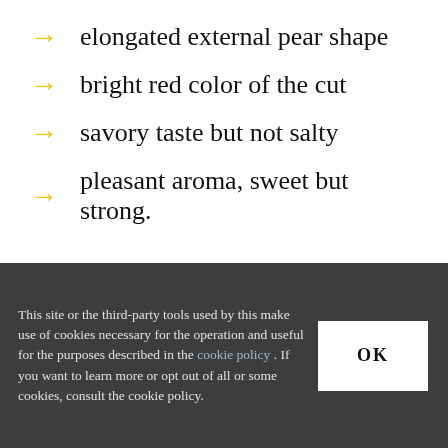elongated external pear shape
bright red color of the cut
savory taste but not salty
pleasant aroma, sweet but strong.
The processing of Modena Prosciutto
takes place only in factories located in the
This site or the third-party tools used by this make use of cookies necessary for the operation and useful for the purposes described in the cookie policy . If you want to learn more or opt out of all or some cookies, consult the cookie policy.